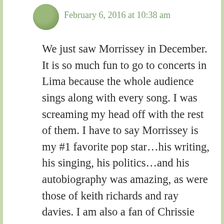[Figure (photo): Small circular avatar photo of a person, partially visible at top left of comment]
February 6, 2016 at 10:38 am
We just saw Morrissey in December. It is so much fun to go to concerts in Lima because the whole audience sings along with every song. I was screaming my head off with the rest of them. I have to say Morrissey is my #1 favorite pop star…his writing, his singing, his politics…and his autobiography was amazing, as were those of keith richards and ray davies. I am also a fan of Chrissie Hynde. I love singers who do odd little things in the way they end musical phrases. Im not fond of